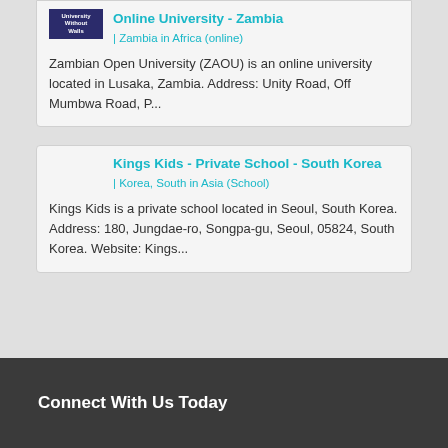Online University - Zambia | Zambia in Africa (online)
Zambian Open University (ZAOU) is an online university located in Lusaka, Zambia. Address: Unity Road, Off Mumbwa Road, P...
Kings Kids - Private School - South Korea | Korea, South in Asia (School)
Kings Kids is a private school located in Seoul, South Korea. Address: 180, Jungdae-ro, Songpa-gu, Seoul, 05824, South Korea. Website: Kings...
Connect With Us Today